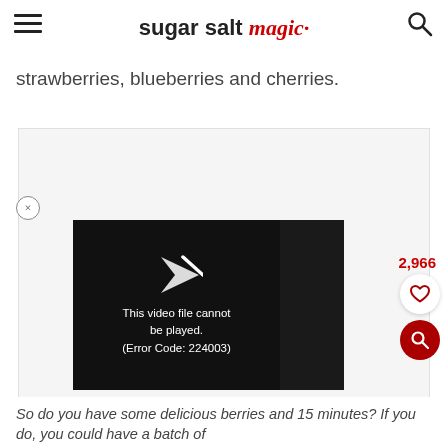sugar salt magic
strawberries, blueberries and cherries.
[Figure (screenshot): Video player showing error message: This video file cannot be played. (Error Code: 224003)]
So do you have some delicious berries and 15 minutes? If you do, you could have a batch of